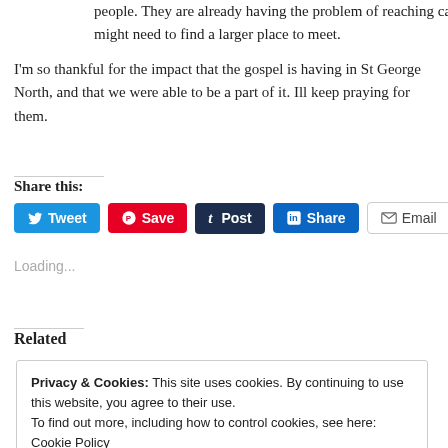people. They are already having the problem of reaching capacity, and might need to find a larger place to meet.
I'm so thankful for the impact that the gospel is having in St George North, and that we were able to be a part of it. Ill keep praying for them.
Share this:
[Figure (other): Social share buttons: Tweet (Twitter/blue), Save (Pinterest/red), Post (Tumblr/dark navy), Share (LinkedIn/blue), Email (grey outline)]
Loading...
Related
Privacy & Cookies: This site uses cookies. By continuing to use this website, you agree to their use.
To find out more, including how to control cookies, see here: Cookie Policy